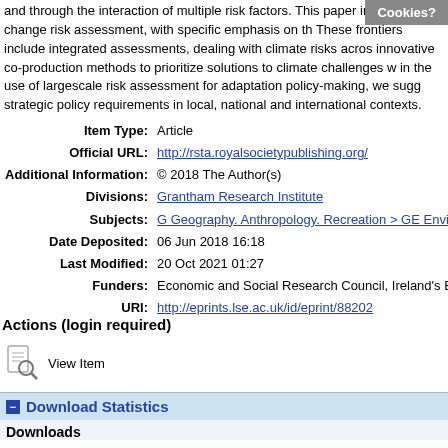and through the interaction of multiple risk factors. This paper in of climate change risk assessment, with specific emphasis on the These frontiers include integrated assessments, dealing with climate risks acros innovative co-production methods to prioritize solutions to climate challenges w in the use of largescale risk assessment for adaptation policy-making, we sugg strategic policy requirements in local, national and international contexts.
| Field | Value |
| --- | --- |
| Item Type: | Article |
| Official URL: | http://rsta.royalsocietypublishing.org/ |
| Additional Information: | © 2018 The Author(s) |
| Divisions: | Grantham Research Institute |
| Subjects: | G Geography. Anthropology. Recreation > GE Enviro |
| Date Deposited: | 06 Jun 2018 16:18 |
| Last Modified: | 20 Oct 2021 01:27 |
| Funders: | Economic and Social Research Council, Ireland's En |
| URI: | http://eprints.lse.ac.uk/id/eprint/88202 |
Actions (login required)
[Figure (illustration): View Item icon (magnifying glass over document)]
View Item
− Download Statistics
Downloads